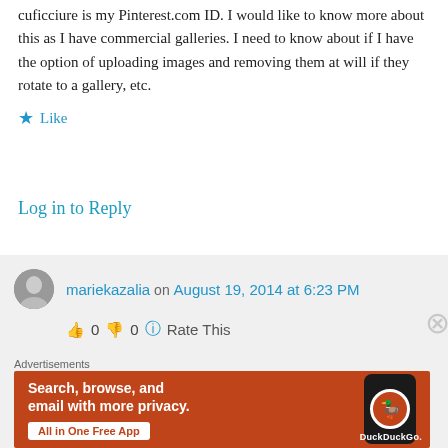cuficciure is my Pinterest.com ID. I would like to know more about this as I have commercial galleries. I need to know about if I have the option of uploading images and removing them at will if they rotate to a gallery, etc.
Like
Log in to Reply
mariekazalia on August 19, 2014 at 6:23 PM
👍 0 👎 0 ℹ️ Rate This
[Figure (infographic): DuckDuckGo advertisement banner: orange background with white bold text 'Search, browse, and email with more privacy. All in One Free App' and a phone image on the right showing the DuckDuckGo app logo.]